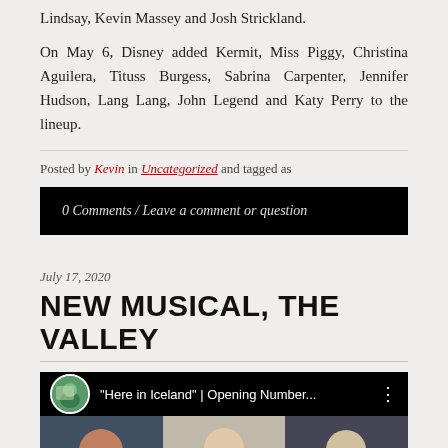Lindsay, Kevin Massey and Josh Strickland.
On May 6, Disney added Kermit, Miss Piggy, Christina Aguilera, Tituss Burgess, Sabrina Carpenter, Jennifer Hudson, Lang Lang, John Legend and Katy Perry to the lineup.
Posted by Kevin in Uncategorized and tagged as
0 Comments / Leave a comment or question
July 17, 2020
NEW MUSICAL, THE VALLEY
[Figure (screenshot): Video thumbnail showing 'Here in Iceland' | Opening Number... with a circular avatar on left, and three video call participants below.]